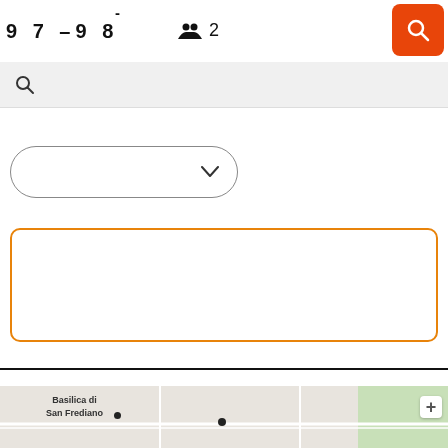9 7 —9 8  👥 2
[Figure (screenshot): Orange search button with magnifying glass icon in top right corner]
[Figure (screenshot): Search bar with magnifying glass icon on grey background]
[Figure (screenshot): Dropdown selector box with chevron/arrow, rounded border]
[Figure (screenshot): Orange-bordered empty text input box]
[Figure (map): Map showing Basilica di San Frediano area with location dots and street layout]